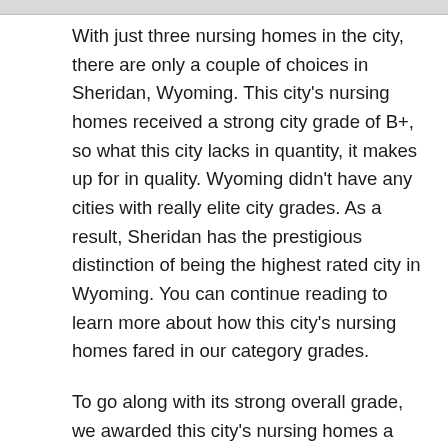With just three nursing homes in the city, there are only a couple of choices in Sheridan, Wyoming. This city's nursing homes received a strong city grade of B+, so what this city lacks in quantity, it makes up for in quality. Wyoming didn't have any cities with really elite city grades. As a result, Sheridan has the prestigious distinction of being the highest rated city in Wyoming. You can continue reading to learn more about how this city's nursing homes fared in our category grades.
To go along with its strong overall grade, we awarded this city's nursing homes a grade of A for our inspections rating. Perhaps the most significant factor we look at in computing our inspection ratings is deficiencies. These deficiencies are found on a nursing home's inspection reports. Facilities with better scores in this area typically dodged the more severe...